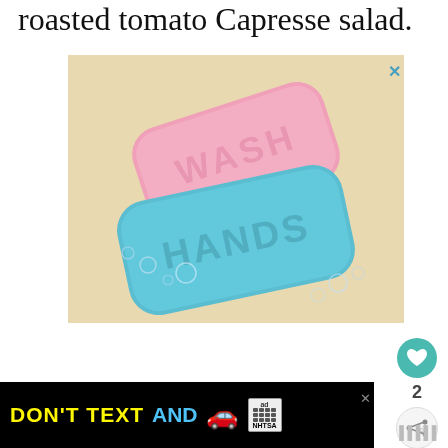roasted tomato Capresse salad.
[Figure (photo): Two bars of soap on a beige/cream background surrounded by bubbles. The top bar is pink and embossed with the word WASH. The bottom bar is teal/turquoise and embossed with the word HANDS.]
[Figure (infographic): Advertisement banner reading DON'T TEXT AND with a red car emoji, followed by the Ad Choices logo and NHTSA branding, on a black background with yellow and cyan text.]